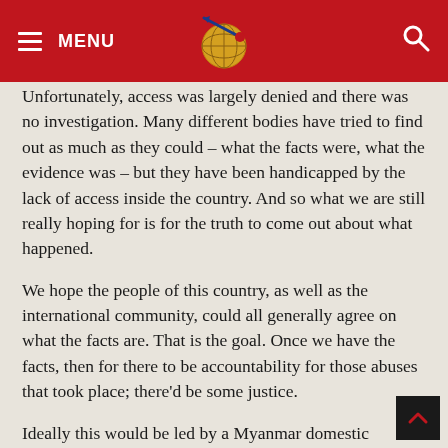MENU [logo] [search]
Unfortunately, access was largely denied and there was no investigation. Many different bodies have tried to find out as much as they could – what the facts were, what the evidence was – but they have been handicapped by the lack of access inside the country. And so what we are still really hoping for is for the truth to come out about what happened.
We hope the people of this country, as well as the international community, could all generally agree on what the facts are. That is the goal. Once we have the facts, then for there to be accountability for those abuses that took place; there'd be some justice.
Ideally this would be led by a Myanmar domestic investigation, done in a way that is credible. Not only